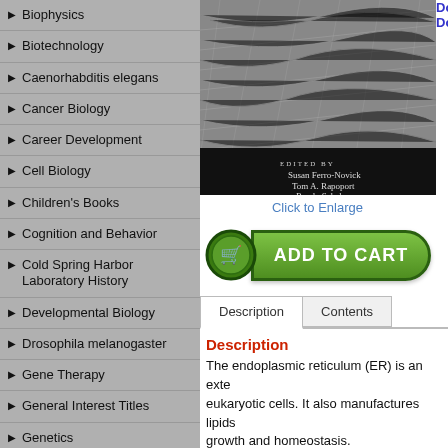Biophysics
Biotechnology
Caenorhabditis elegans
Cancer Biology
Career Development
Cell Biology
Children's Books
Cognition and Behavior
Cold Spring Harbor Laboratory History
Developmental Biology
Drosophila melanogaster
Gene Therapy
General Interest Titles
Genetics
Genomics
[Figure (photo): Microscopy image of endoplasmic reticulum with book cover showing editors Susan Ferro-Novick, Tom A. Rapoport, Randy Schekman]
Click to Enlarge
[Figure (other): Add to Cart button (green rounded button with cart icon)]
Description | Contents tabs
Description
The endoplasmic reticulum (ER) is an extensive membrane network found in all eukaryotic cells. It also manufactures lipids and is critical for cell growth and homeostasis.
Our website uses cookies to enhance your experience on the site. By clicking "continue" or by continuing to use our website, you are agreeing to our use of cookies as detailed in our privacy policy. Continue